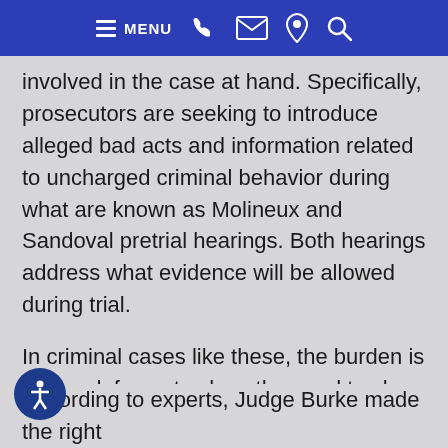MENU [navigation icons: phone, email, location, search]
involved in the case at hand. Specifically, prosecutors are seeking to introduce alleged bad acts and information related to uncharged criminal behavior during what are known as Molineux and Sandoval pretrial hearings. Both hearings address what evidence will be allowed during trial.
In criminal cases like these, the burden is on the defense to show the need to close the courtroom. Here, the defense was able to prove that allowing the media (and therefore public) into these pretrial hearings would create a frenzy and tainted jury pool of residents in Manhattan.
According to experts, Judge Burke made the right